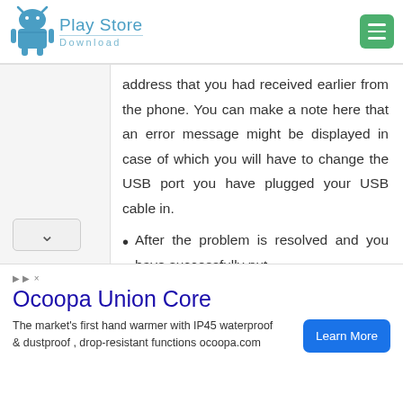Play Store Download
address that you had received earlier from the phone. You can make a note here that an error message might be displayed in case of which you will have to change the USB port you have plugged your USB cable in.
After the problem is resolved and you have successfully put
[Figure (infographic): Advertisement banner for Ocoopa Union Core hand warmer. Title: Ocoopa Union Core. Description: The market's first hand warmer with IP45 waterproof & dustproof, drop-resistant functions ocoopa.com. Button: Learn More]